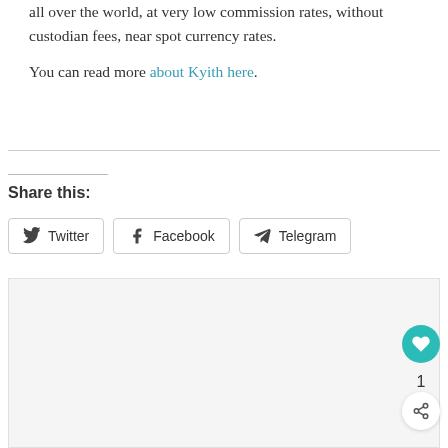all over the world, at very low commission rates, without custodian fees, near spot currency rates.
You can read more about Kyith here.
Share this:
Twitter  Facebook  Telegram